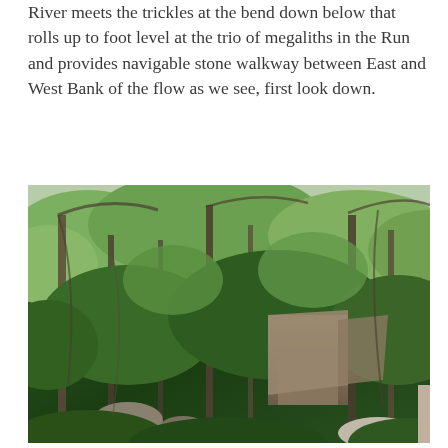River meets the trickles at the bend down below that rolls up to foot level at the trio of megaliths in the Run and provides navigable stone walkway between East and West Bank of the flow as we see, first look down.
[Figure (photo): A looking-down view from above into a forested gorge with a small stream and large boulders visible through dense green tree canopy. Tall bare-trunked trees rise up through the lush foliage. Rocky cliff faces and a hint of a small waterfall or stream are visible at the bottom of the ravine.]